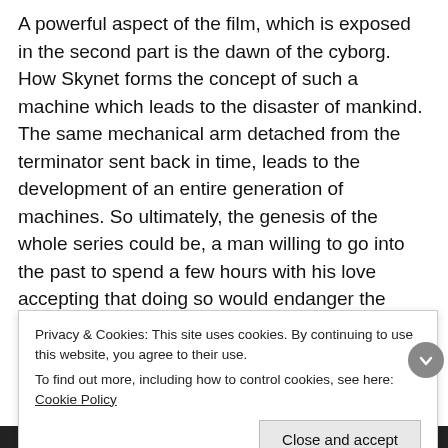A powerful aspect of the film, which is exposed in the second part is the dawn of the cyborg. How Skynet forms the concept of such a machine which leads to the disaster of mankind. The same mechanical arm detached from the terminator sent back in time, leads to the development of an entire generation of machines. So ultimately, the genesis of the whole series could be, a man willing to go into the past to spend a few hours with his love accepting that doing so would endanger the whole mankind. Are we considering a love story over here? Well, it is one way of looking at it!
Like they say about Citizen Kane, the greatest part of the film was that the film happened. We need to look outside what the f...
Privacy & Cookies: This site uses cookies. By continuing to use this website, you agree to their use.
To find out more, including how to control cookies, see here: Cookie Policy
Close and accept
Advertisements